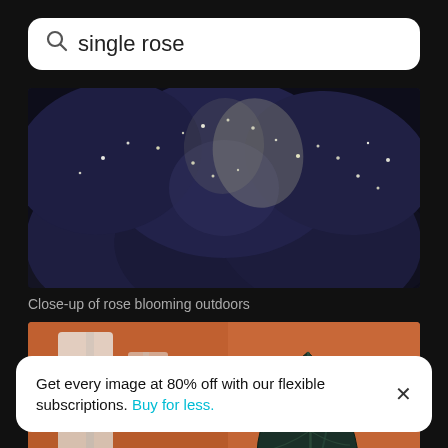single rose
[Figure (photo): Close-up of a dark blue-tinted rose flower with sparkling dewdrops on petals, macro photography with blurred background]
Close-up of rose blooming outdoors
[Figure (photo): A dark green tropical leaf held up against a blurred warm orange/brown background, indoor plant photography]
Get every image at 80% off with our flexible subscriptions. Buy for less.